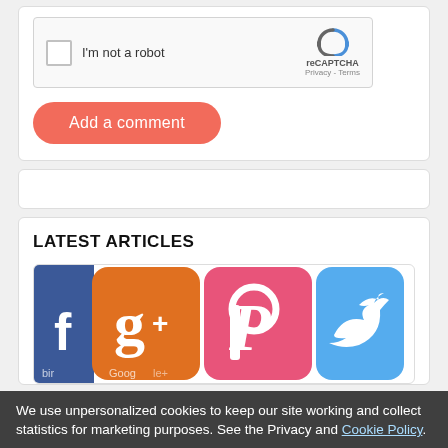[Figure (screenshot): reCAPTCHA widget with checkbox labeled 'I'm not a robot' and reCAPTCHA logo with Privacy and Terms links]
Add a comment
LATEST ARTICLES
[Figure (photo): Social media app icons: Facebook, Google+, Pinterest, Twitter on colorful rounded square backgrounds]
We use unpersonalized cookies to keep our site working and collect statistics for marketing purposes. See the Privacy and Cookie Policy.